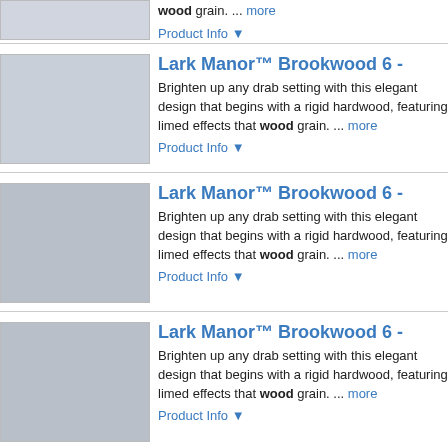[Figure (photo): Dining set product image (partial, top cropped)]
wood grain. ... more
Product Info ▼
Lark Manor™ Brookwood 6 -
[Figure (photo): Dining set with blue chairs]
Brighten up any drab setting with this elegant design that begins with a rigid hardwood, featuring limed effects that wood grain. ... more
Product Info ▼
Lark Manor™ Brookwood 6 -
[Figure (photo): Dining set with grey chairs]
Brighten up any drab setting with this elegant design that begins with a rigid hardwood, featuring limed effects that wood grain. ... more
Product Info ▼
Lark Manor™ Brookwood 6 -
[Figure (photo): Dining set with grey chairs, orange accents]
Brighten up any drab setting with this elegant design that begins with a rigid hardwood, featuring limed effects that wood grain. ... more
Product Info ▼
Lark Manor™ Brookwood 6 -
[Figure (photo): Dining set with blue chairs (partial, bottom cut off)]
Brighten up any drab setting with this elegant design that begins with a rigid hardwood, featuring limed effects th...